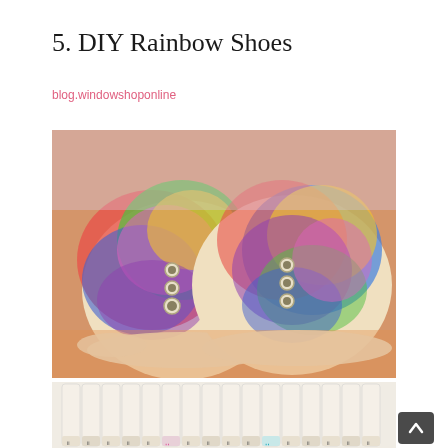5. DIY Rainbow Shoes
blog.windowshoponline
[Figure (photo): Two canvas sneakers decorated with rainbow tie-dye colors including red, orange, yellow, green, blue, and purple, photographed from the front showing the lace eyelets]
[Figure (photo): Close-up of multiple markers/pens laid side by side showing their tips with small colored ink marks, including one pink and one teal marker visible]